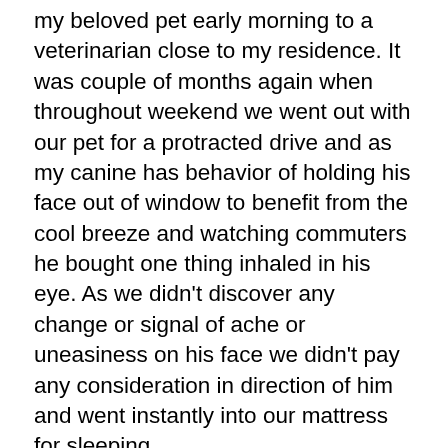my beloved pet early morning to a veterinarian close to my residence. It was couple of months again when throughout weekend we went out with our pet for a protracted drive and as my canine has behavior of holding his face out of window to benefit from the cool breeze and watching commuters he bought one thing inhaled in his eye. As we didn't discover any change or signal of ache or uneasiness on his face we didn't pay any consideration in direction of him and went instantly into our mattress for sleeping.
However, subsequent morning had one thing unlucky written one thing insufferable and horrible for us, and just some pet lover can perceive my scenario. What shall be your response in the event you early morning if you see the swelling on the attention of your canine, utterly protecting his eye and drops of blood coming from his eye? Clearly, with out losing a second you'll rush to the veterinarian that's near your own home to